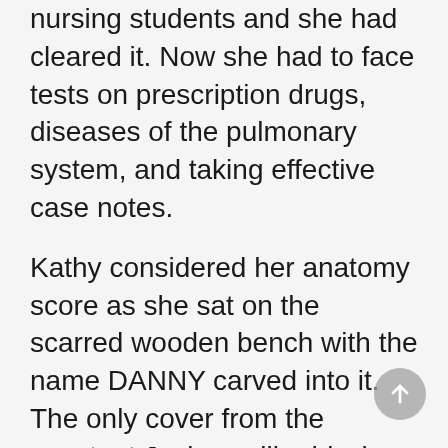nursing students and she had cleared it. Now she had to face tests on prescription drugs, diseases of the pulmonary system, and taking effective case notes.
Kathy considered her anatomy score as she sat on the scarred wooden bench with the name DANNY carved into it. The only cover from the constant Jacksonville drizzle was the pockmarked plastic bus stop with an ad for the Jacksonville Times-Union plastered across the inside: a smattering of famous headlines beneath an image of a young, professional-looking couple reading the paper and drinking coffee. The other nursing students called the bus stop wedged between the two buildings “creep central” because it felt so isolated. Kathy had checked with security